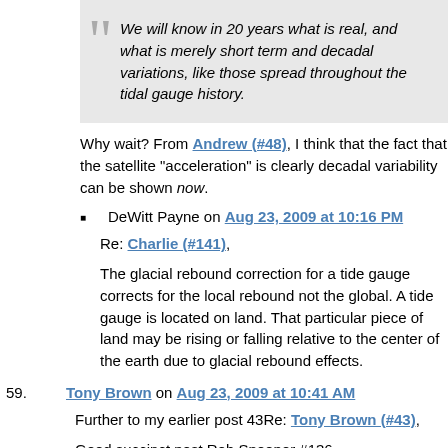We will know in 20 years what is real, and what is merely short term and decadal variations, like those spread throughout the tidal gauge history.
Why wait? From Andrew (#48), I think that the fact that the satellite “acceleration” is clearly decadal variability can be shown now.
DeWitt Payne on Aug 23, 2009 at 10:16 PM
Re: Charlie (#141),
The glacial rebound correction for a tide gauge corrects for the local rebound not the global. A tide gauge is located on land. That particular piece of land may be rising or falling relative to the center of the earth due to glacial rebound effects.
59. Tony Brown on Aug 23, 2009 at 10:41 AM
Further to my earlier post 43Re: Tony Brown (#43),
Good succinct post Rob Spooner #136
We are being bamboozled by science which likes to have a nice graph to explain everything, unfortunately the real world is more complicated than that. Global sea levels are, like